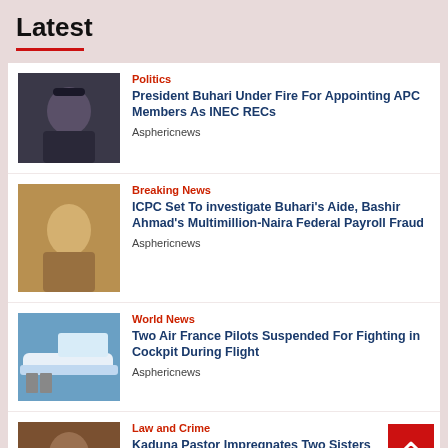Latest
Politics
President Buhari Under Fire For Appointing APC Members As INEC RECs
Asphericnews
Breaking News
ICPC Set To investigate Buhari's Aide, Bashir Ahmad's Multimillion-Naira Federal Payroll Fraud
Asphericnews
World News
Two Air France Pilots Suspended For Fighting in Cockpit During Flight
Asphericnews
Law and Crime
Kaduna Pastor Impregnates Two Sisters